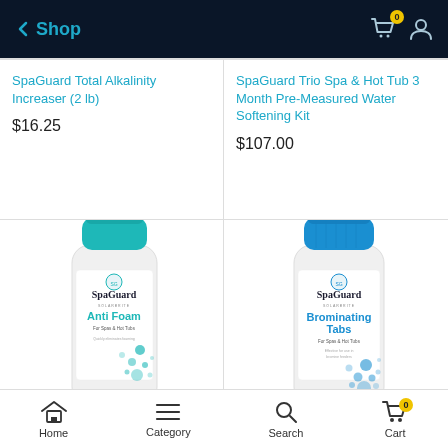Shop
SpaGuard Total Alkalinity Increaser (2 lb)
$16.25
SpaGuard Trio Spa & Hot Tub 3 Month Pre-Measured Water Softening Kit
$107.00
[Figure (photo): SpaGuard Anti Foam bottle with teal cap and blue dot decorative elements]
[Figure (photo): SpaGuard Brominating Tabs bottle with blue cap and blue dot decorative elements]
Home  Category  Search  Cart